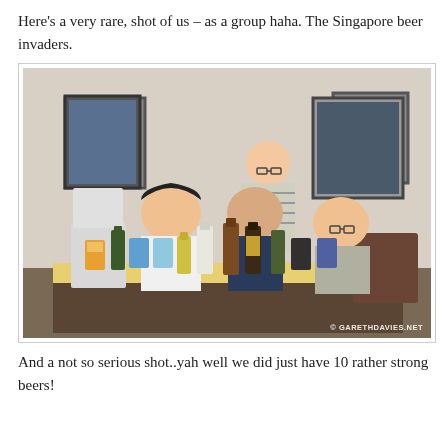Here's a very rare, shot of us – as a group haha. The Singapore beer invaders.
[Figure (photo): Four people posing together around a table with numerous beer bottles and cans lined up in front of them. Three Asian men and one bald Caucasian man in a bar/home setting with framed pictures on the wall. Watermark: © GARETHDAVIES.NET]
And a not so serious shot..yah well we did just have 10 rather strong beers!